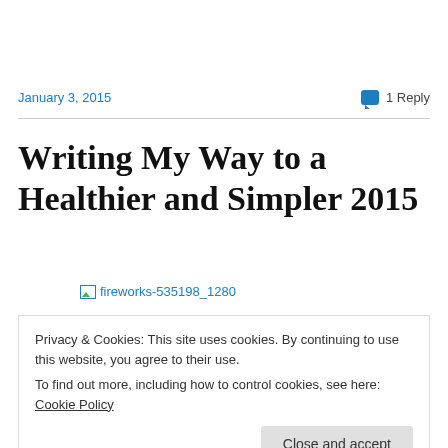January 3, 2015
1 Reply
Writing My Way to a Healthier and Simpler 2015
[Figure (other): Broken image placeholder link: fireworks-535198_1280]
Privacy & Cookies: This site uses cookies. By continuing to use this website, you agree to their use.
To find out more, including how to control cookies, see here: Cookie Policy
Close and accept